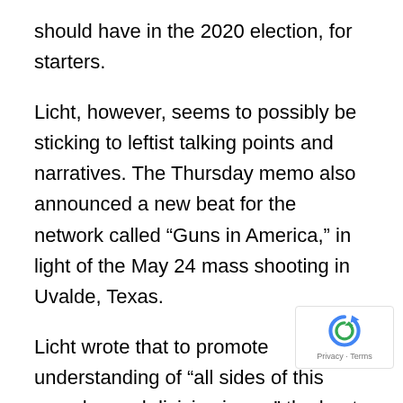should have in the 2020 election, for starters.
Licht, however, seems to possibly be sticking to leftist talking points and narratives. The Thursday memo also announced a new beat for the network called “Guns in America,” in light of the May 24 mass shooting in Uvalde, Texas.
Licht wrote that to promote understanding of “all sides of this complex and divisive issue,” the beat will deal with the “role of guns – who buys & sells them, who makes them, and w regulates them.”
[Figure (logo): Google reCAPTCHA badge with Privacy and Terms links]